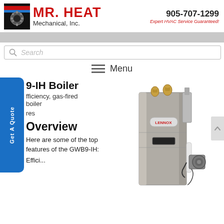[Figure (logo): Mr. Heat Mechanical Inc. logo with gear icon, red text and company name]
905-707-1299
Expert HVAC Service Guaranteed!
[Figure (screenshot): Gray navigation strip]
Search
Menu
9-IH Boiler
fficiency, gas-fired boiler
res
Get A Quote
Overview
Here are some of the top features of the GWB9-IH:
Effici... ration of 90%
[Figure (photo): Lennox GWB9-IH gas-fired boiler, stainless steel cabinet with brass fittings on top and gas valve assembly on the right side]